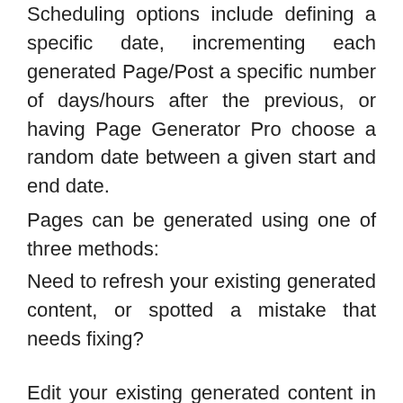Scheduling options include defining a specific date, incrementing each generated Page/Post a specific number of days/hours after the previous, or having Page Generator Pro choose a random date between a given start and end date.
Pages can be generated using one of three methods:
Need to refresh your existing generated content, or spotted a mistake that needs fixing?
Edit your existing generated content in bulk by using the Overwrite option in Page Generator Pro.
The overwrite option allows the